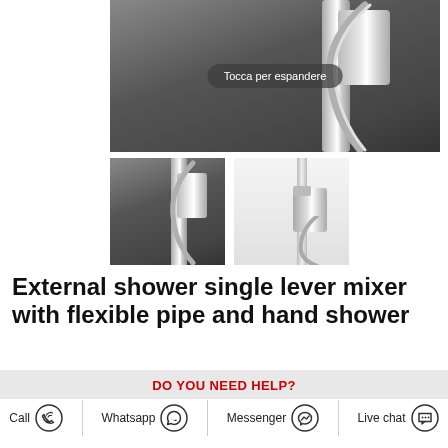[Figure (photo): Large product photo of external shower single lever mixer showing chrome fixtures, hand shower, flexible hose on dark grey background. Overlay text reads 'Tocca per espandere']
[Figure (photo): Small product photo of external shower single lever mixer with hose on dark grey background]
[Figure (photo): Small product photo of external shower single lever mixer mounted on white/light grey background]
External shower single lever mixer with flexible pipe and hand shower
DO YOU NEED HELP?
Call  Whatsapp  Messenger  Live chat